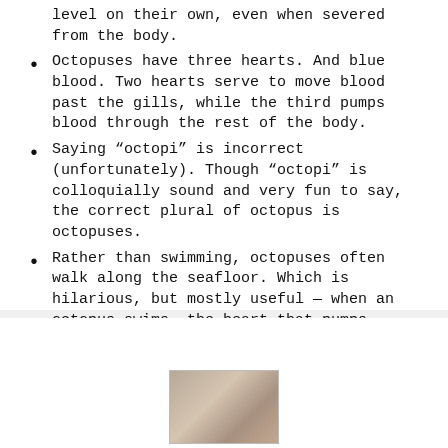level on their own, even when severed from the body.
Octopuses have three hearts. And blue blood. Two hearts serve to move blood past the gills, while the third pumps blood through the rest of the body.
Saying “octopi” is incorrect (unfortunately). Though “octopi” is colloquially sound and very fun to say, the correct plural of octopus is octopuses.
Rather than swimming, octopuses often walk along the seafloor. Which is hilarious, but mostly useful — when an octopus swims, the heart that pumps blood to its organs stops beating, so crawling is a more efficient, less exhausting alternative.
[Figure (photo): A partial photo of an octopus visible at the bottom of the page]